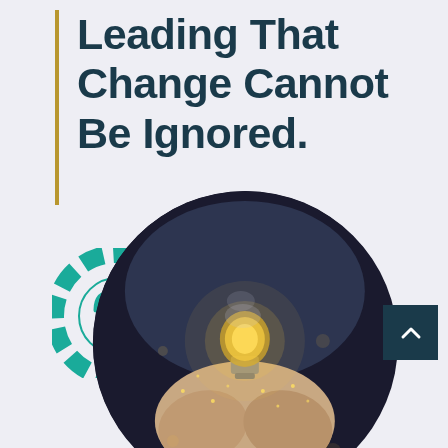Leading That Change Cannot Be Ignored.
[Figure (illustration): Teal gear icon with looping arrows symbol inside]
[Figure (photo): Circular cropped photo of hands holding a glowing light bulb with bokeh fairy lights against a dark background]